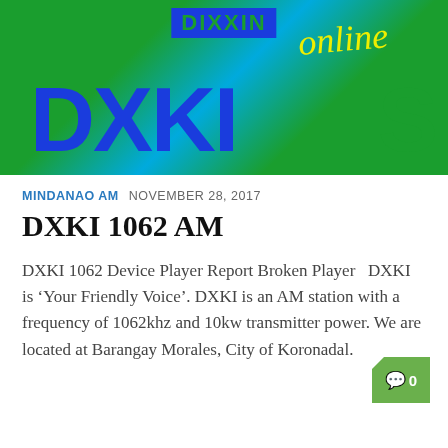[Figure (illustration): Banner image with colorful logo showing DXKI radio station branding with large blue letters on green background, with 'online' in yellow italic script]
MINDANAO AM  NOVEMBER 28, 2017
DXKI 1062 AM
DXKI 1062 Device Player Report Broken Player   DXKI is ‘Your Friendly Voice’. DXKI is an AM station with a frequency of 1062khz and 10kw transmitter power. We are located at Barangay Morales, City of Koronadal.